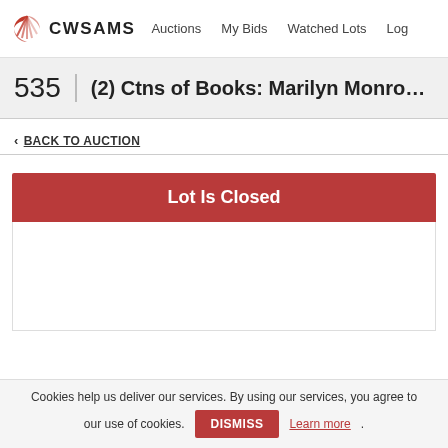CWSAMS | Auctions  My Bids  Watched Lots  Log
535  (2) Ctns of Books: Marilyn Monroe Memo
< BACK TO AUCTION
Lot Is Closed
Cookies help us deliver our services. By using our services, you agree to our use of cookies. DISMISS  Learn more.